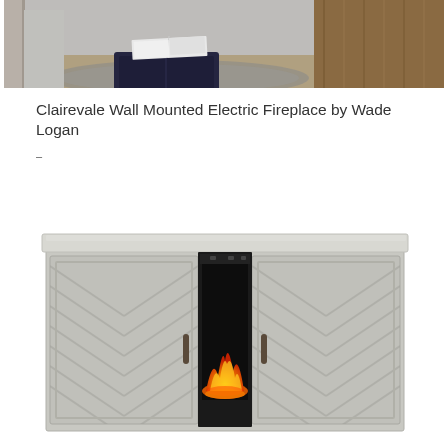[Figure (photo): Room scene showing a navy pillow with an open white book on top, placed on a chevron-patterned rug. A grey upholstered chair arm is visible on the left, and hardwood flooring on the right.]
Clairevale Wall Mounted Electric Fireplace by Wade Logan
–
[Figure (photo): A grey wood-finish TV console/fireplace media cabinet with chevron-patterned cabinet doors on each side and an electric fireplace insert in the center showing orange flames glowing.]